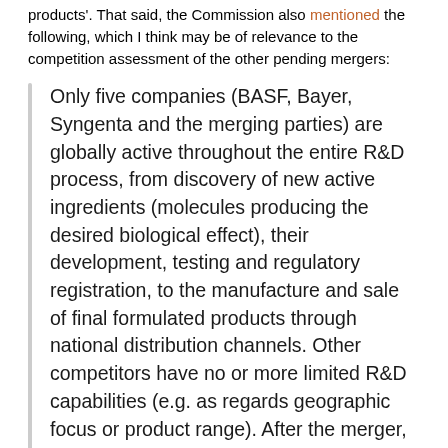products'. That said, the Commission also mentioned the following, which I think may be of relevance to the competition assessment of the other pending mergers:
Only five companies (BASF, Bayer, Syngenta and the merging parties) are globally active throughout the entire R&D process, from discovery of new active ingredients (molecules producing the desired biological effect), their development, testing and regulatory registration, to the manufacture and sale of final formulated products through national distribution channels. Other competitors have no or more limited R&D capabilities (e.g. as regards geographic focus or product range). After the merger, only three global integrated players would remain to compete with the merged company, in an industry with very high barriers to entry. The number of players active in specific innovation areas would be even lower than at the overall industry level.